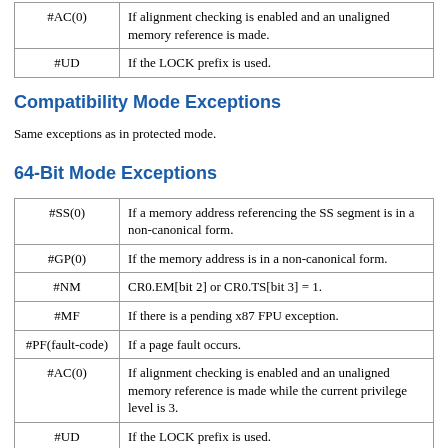| #AC(0) | If alignment checking is enabled and an unaligned memory reference is made. |
| #UD | If the LOCK prefix is used. |
Compatibility Mode Exceptions
Same exceptions as in protected mode.
64-Bit Mode Exceptions
| #SS(0) | If a memory address referencing the SS segment is in a non-canonical form. |
| #GP(0) | If the memory address is in a non-canonical form. |
| #NM | CR0.EM[bit 2] or CR0.TS[bit 3] = 1. |
| #MF | If there is a pending x87 FPU exception. |
| #PF(fault-code) | If a page fault occurs. |
| #AC(0) | If alignment checking is enabled and an unaligned memory reference is made while the current privilege level is 3. |
| #UD | If the LOCK prefix is used. |